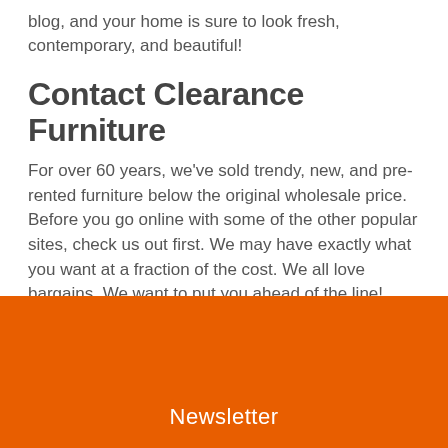blog, and your home is sure to look fresh, contemporary, and beautiful!
Contact Clearance Furniture
For over 60 years, we've sold trendy, new, and pre-rented furniture below the original wholesale price. Before you go online with some of the other popular sites, check us out first. We may have exactly what you want at a fraction of the cost. We all love bargains. We want to put you ahead of the line!
Contact us or shop our floral items online today!
Newsletter